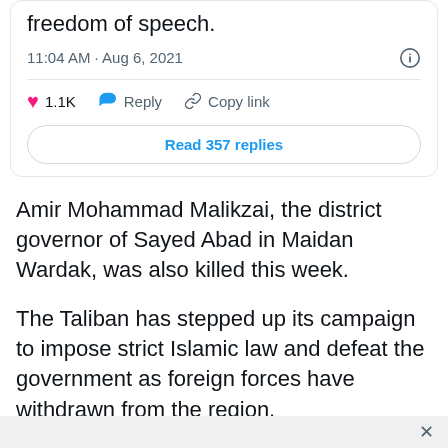freedom of speech.
11:04 AM · Aug 6, 2021
1.1K  Reply  Copy link
Read 357 replies
Amir Mohammad Malikzai, the district governor of Sayed Abad in Maidan Wardak, was also killed this week.
The Taliban has stepped up its campaign to impose strict Islamic law and defeat the government as foreign forces have withdrawn from the region.